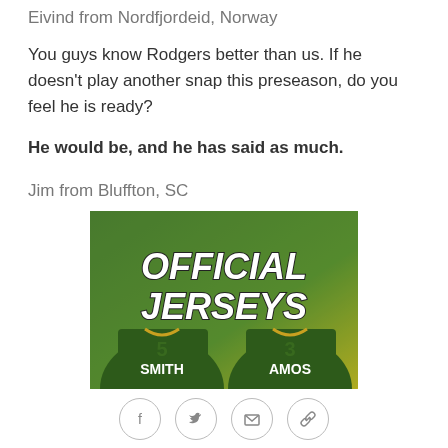Eivind from Nordfjordeid, Norway
You guys know Rodgers better than us. If he doesn't play another snap this preseason, do you feel he is ready?
He would be, and he has said as much.
Jim from Bluffton, SC
[Figure (illustration): Advertisement showing two Green Bay Packers jerseys with names SMITH and AMOS on the back, text reading OFFICIAL JERSEYS on a green and yellow background]
[Figure (other): Social media share icons: Facebook, Twitter, Email, Link]